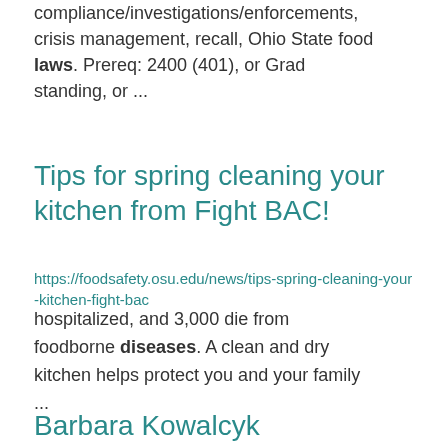compliance/investigations/enforcements, crisis management, recall, Ohio State food laws. Prereq: 2400 (401), or Grad standing, or ...
Tips for spring cleaning your kitchen from Fight BAC!
https://foodsafety.osu.edu/news/tips-spring-cleaning-your-kitchen-fight-bac
hospitalized, and 3,000 die from foodborne diseases. A clean and dry kitchen helps protect you and your family ...
Barbara Kowalcyk